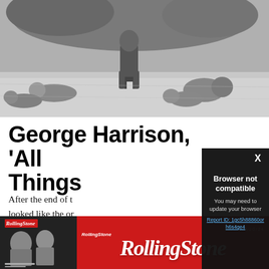[Figure (photo): Black and white photograph of a person sitting on a small stool outdoors on a lawn, with several children lying or sitting on the grass around them. Trees visible in the background.]
George Harrison, 'All Things
After the end of t... looked like the or... years of writing i... McCartney, Geo... to make his solo d... like Bob Dylan, B... Things Must P...
[Figure (screenshot): Browser error modal overlay on dark background with 'X' close button in top right. Modal title: 'Browser not compatible'. Subtitle: 'You may need to update your browser'. Link text: 'Report ID: 1gc5h88860orh6s4qe4']
[Figure (logo): Rolling Stone magazine advertisement banner. Left side shows a dark thumbnail of a Rolling Stone magazine cover. Right side has red background with white RollingStone logo in italic serif font, with small 'RollingStone' text and 'Aug/24' label above.]